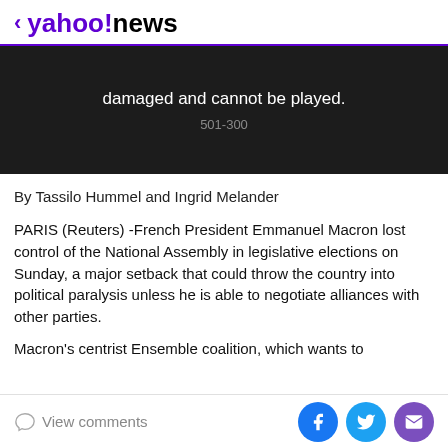< yahoo!news
[Figure (screenshot): Dark video player placeholder showing error message 'damaged and cannot be played.' with error code '501-300']
By Tassilo Hummel and Ingrid Melander
PARIS (Reuters) -French President Emmanuel Macron lost control of the National Assembly in legislative elections on Sunday, a major setback that could throw the country into political paralysis unless he is able to negotiate alliances with other parties.
Macron's centrist Ensemble coalition, which wants to